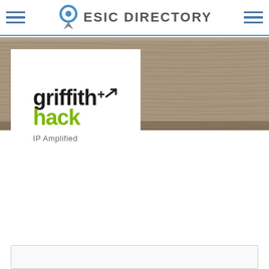ESIC DIRECTORY
[Figure (logo): Griffith Hack IP Amplified logo — 'griffith' in bold black with a superscript cross/arrow, 'hack' in bold green, 'IP Amplified' in grey below]
[Figure (illustration): Wood texture banner background behind the logo card]